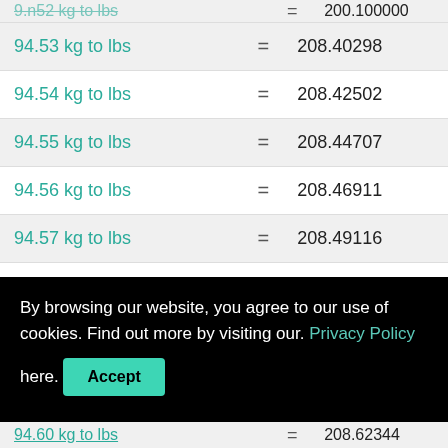| Conversion | = | Result |
| --- | --- | --- |
| 94.53 kg to lbs | = | 208.40298 |
| 94.54 kg to lbs | = | 208.42502 |
| 94.55 kg to lbs | = | 208.44707 |
| 94.56 kg to lbs | = | 208.46911 |
| 94.57 kg to lbs | = | 208.49116 |
| 94.58 kg to lbs | = | 208.51321 |
| 94.59 kg to lbs | = | 208.53525 |
By browsing our website, you agree to our use of cookies. Find out more by visiting our. Privacy Policy here.